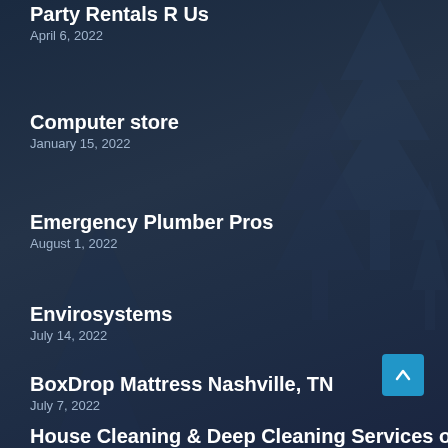Party Rentals R Us
April 6, 2022
Computer store
January 15, 2022
Emergency Plumber Pros
August 1, 2022
Envirosystems
July 14, 2022
BoxDrop Mattress Nashville, TN
July 7, 2022
House Cleaning & Deep Cleaning Services of